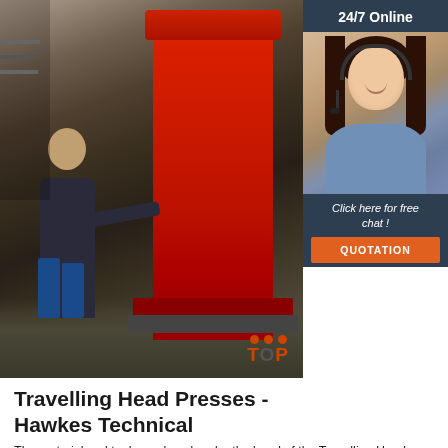[Figure (photo): Industrial photo of a worker operating a large red Travelling Head Press machine in a workshop/factory setting. The machine is tall and red, and the worker is leaning forward to operate it. A sidebar to the right shows a customer service representative with headset and '24/7 Online', 'Click here for free chat!', and 'QUOTATION' call-to-action.]
Travelling Head Presses - Hawkes Technical
The material and tool are placed under the head of the Travelling Head Press, the operator then presses two push buttons to bring the cutting head down under force